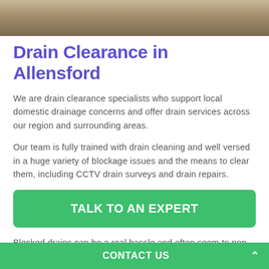[Figure (photo): Dark textured background photo strip at top of page, appears to be a drain or ground surface.]
Drain Clearance in Allensford
We are drain clearance specialists who support local domestic drainage concerns and offer drain services across our region and surrounding areas.
Our team is fully trained with drain cleaning and well versed in a huge variety of blockage issues and the means to clear them, including CCTV drain surveys and drain repairs.
TALK TO AN EXPERT
Blocked drains can be a real hassle and often seem to pop up when you least expect them.
CONTACT US